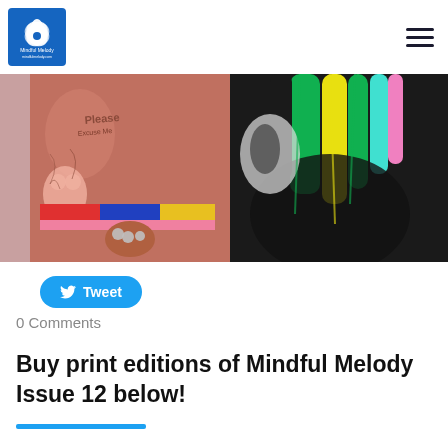Mindful Melody logo and navigation
[Figure (photo): Two people — one shirtless with extensive tattoos wearing a colorful belt, another with multicolored hair in a black outfit — photographed against a pink background.]
Tweet
0 Comments
Buy print editions of Mindful Melody Issue 12 below!